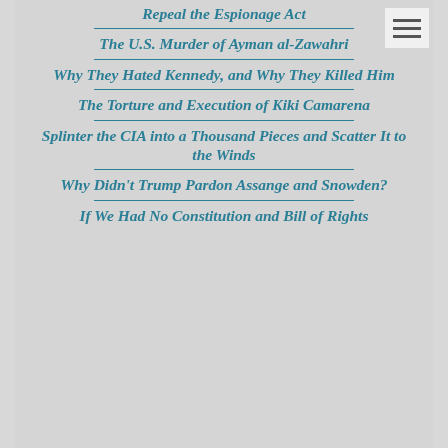Repeal the Espionage Act
The U.S. Murder of Ayman al-Zawahri
Why They Hated Kennedy, and Why They Killed Him
The Torture and Execution of Kiki Camarena
Splinter the CIA into a Thousand Pieces and Scatter It to the Winds
Why Didn't Trump Pardon Assange and Snowden?
If We Had No Constitution and Bill of Rights